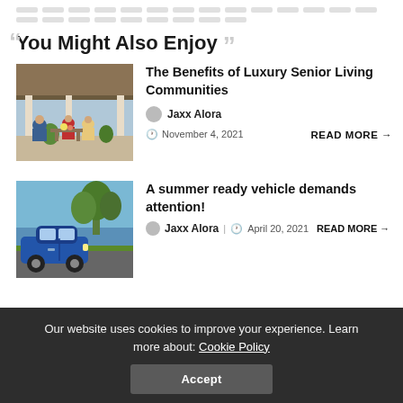Navigation dots / breadcrumb
You Might Also Enjoy
[Figure (photo): Elderly people relaxing on a luxury senior living community porch/veranda]
The Benefits of Luxury Senior Living Communities
Jaxx Alora | November 4, 2021  READ MORE →
[Figure (photo): Blue car parked near a lake in summer]
A summer ready vehicle demands attention!
Jaxx Alora | April 20, 2021  READ MORE →
Our website uses cookies to improve your experience. Learn more about: Cookie Policy  Accept